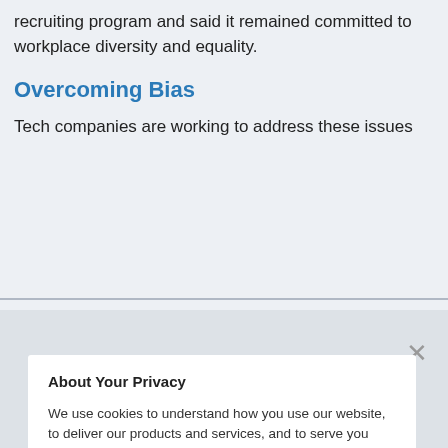recruiting program and said it remained committed to workplace diversity and equality.
Overcoming Bias
Tech companies are working to address these issues
About Your Privacy
We use cookies to understand how you use our website, to deliver our products and services, and to serve you better. By visiting our website, you acknowledge that you have read and agree to our Privacy Notice.
If you decline, your information won't be tracked when you visit this website. A single cookie will be used in your browser to remember your preference not to be tracked.
Accept
Decline